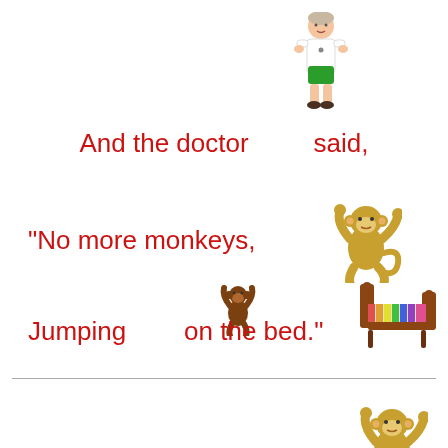[Figure (illustration): Cartoon doctor figure standing, wearing white coat and green shorts]
And the doctor said,
[Figure (illustration): Cartoon golden monkey jumping with arms raised]
"No more monkeys,
[Figure (illustration): Small cartoon brown monkey jumping]
[Figure (illustration): Cartoon wooden bed with colorful blanket]
Jumping on the bed."
[Figure (illustration): Cartoon golden monkey at bottom right corner]